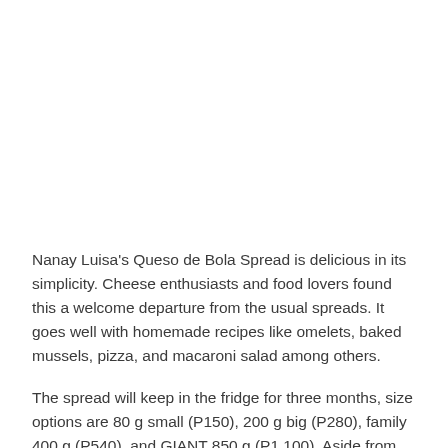Nanay Luisa's Queso de Bola Spread is delicious in its simplicity. Cheese enthusiasts and food lovers found this a welcome departure from the usual spreads. It goes well with homemade recipes like omelets, baked mussels, pizza, and macaroni salad among others.
The spread will keep in the fridge for three months, size options are 80 g small (P150), 200 g big (P280), family 400 g (P540), and GIANT 850 g (P1,100). Aside from online orders on Facebook, Instagram, and E-mail, Nanay Luisa's Queso de Bola Spread is also available at selected Metro Manila branches of All-Day Panaderia, Connie's